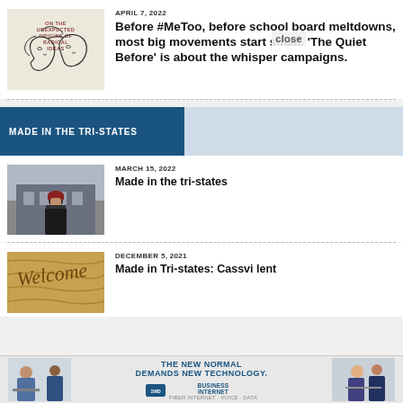[Figure (illustration): Book cover: 'On the Unexpected Origins of Radical Ideas' with line-art faces]
APRIL 7, 2022
Before #MeToo, before school board meltdowns, most big movements start small. 'The Quiet Before' is about the whisper campaigns.
MADE IN THE TRI-STATES
[Figure (photo): Man in red beanie standing outside a building in winter]
MARCH 15, 2022
Made in the tri-states
[Figure (photo): Wood signage with cursive lettering]
DECEMBER 5, 2021
Made in Tri-states: Cassvi lent
[Figure (screenshot): Advertisement: THE NEW NORMAL DEMANDS NEW TECHNOLOGY. Business internet, fiber internet, voice, data.]